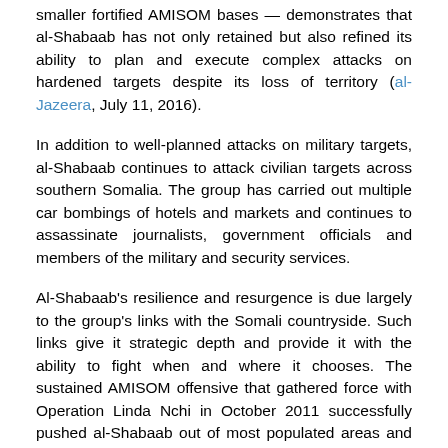smaller fortified AMISOM bases — demonstrates that al-Shabaab has not only retained but also refined its ability to plan and execute complex attacks on hardened targets despite its loss of territory (al-Jazeera, July 11, 2016).
In addition to well-planned attacks on military targets, al-Shabaab continues to attack civilian targets across southern Somalia. The group has carried out multiple car bombings of hotels and markets and continues to assassinate journalists, government officials and members of the military and security services.
Al-Shabaab's resilience and resurgence is due largely to the group's links with the Somali countryside. Such links give it strategic depth and provide it with the ability to fight when and where it chooses. The sustained AMISOM offensive that gathered force with Operation Linda Nchi in October 2011 successfully pushed al-Shabaab out of most populated areas and impeded al-Shabaab's ability to finance itself. However,